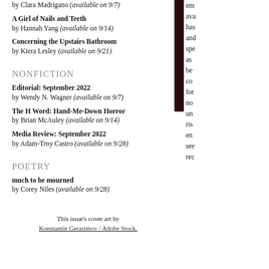by Clara Madrigano (available on 9/7)
A Girl of Nails and Teeth
by Hannah Yang (available on 9/14)
Concerning the Upstairs Bathroom
by Kiera Lesley (available on 9/21)
NONFICTION
Editorial: September 2022
by Wendy N. Wagner (available on 9/7)
The H Word: Hand-Me-Down Horror
by Brian McAuley (available on 9/14)
Media Review: September 2022
by Adam-Troy Castro (available on 9/28)
POETRY
much to be mourned
by Corey Niles (available on 9/28)
This issue's cover art by
Konstantin Gerasimov / Adobe Stock.
em
ava
has
and
spe
as
be
co
for
no
un
ris
en
see
rec